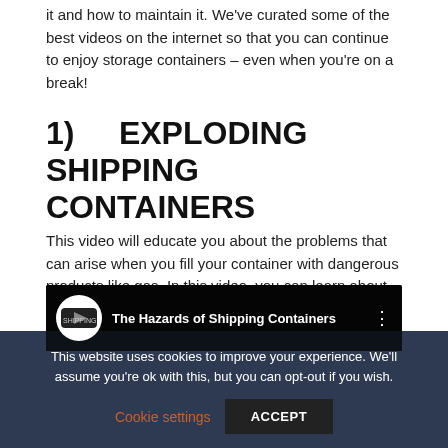it and how to maintain it. We've curated some of the best videos on the internet so that you can continue to enjoy storage containers – even when you're on a break!
1)    EXPLODING SHIPPING CONTAINERS
This video will educate you about the problems that can arise when you fill your container with dangerous products like gas. In this video, you can learn about how and why shipping containers are exploding.
[Figure (screenshot): YouTube video thumbnail for 'The Hazards of Shipping Containers' showing a dark scene with shipping containers and colored cylinders]
This website uses cookies to improve your experience. We'll assume you're ok with this, but you can opt-out if you wish. Cookie settings  ACCEPT